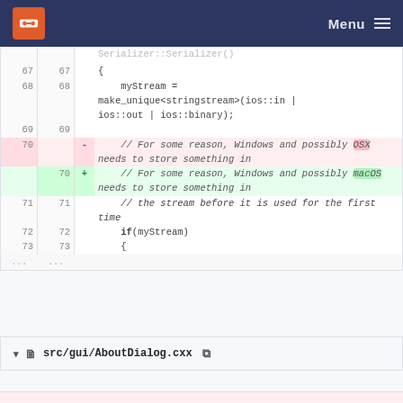Menu
[Figure (screenshot): Code diff view showing changes in Serializer.cxx. Lines 67-73 shown with one removed line (70) and one added line (70). Change: 'OSX' replaced with 'macOS' in a comment.]
src/gui/AboutDialog.cxx